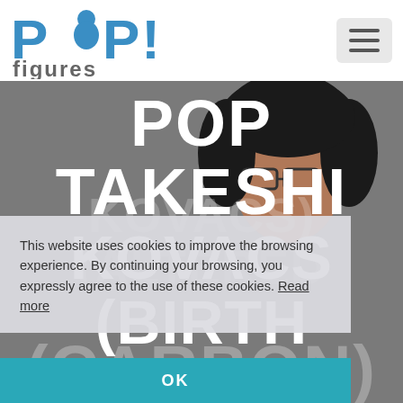[Figure (logo): POP! figures logo in blue and gray]
[Figure (screenshot): Website screenshot showing POP TAKESHI KOVACS (BIRTH... page title over a character illustration, with a cookie consent banner overlay containing text and OK button]
This website uses cookies to improve the browsing experience. By continuing your browsing, you expressly agree to the use of these cookies. Read more
OK